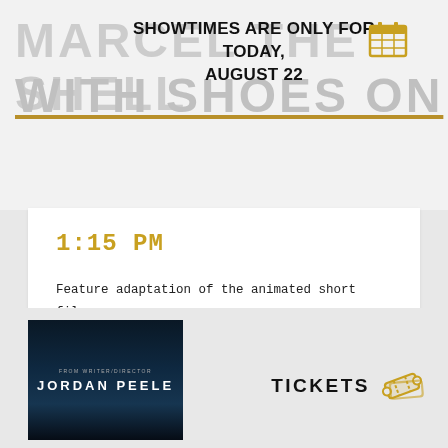SHOWTIMES ARE ONLY FOR TODAY, AUGUST 22
MARCEL THE SHELL WITH SHOES ON
1:15 PM
Feature adaptation of the animated short film interviewing a mollusk named Marcel. more »
Watch Trailer
[Figure (photo): Movie poster for film from writer/director Jordan Peele, dark atmospheric image]
TICKETS